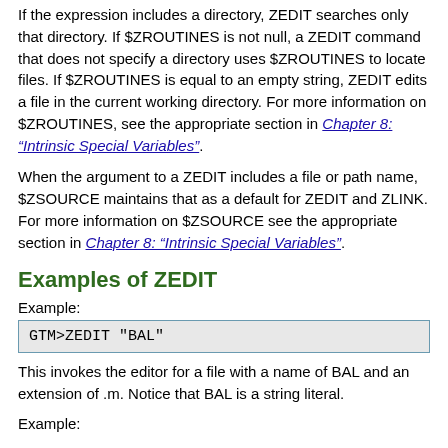If the expression includes a directory, ZEDIT searches only that directory. If $ZROUTINES is not null, a ZEDIT command that does not specify a directory uses $ZROUTINES to locate files. If $ZROUTINES is equal to an empty string, ZEDIT edits a file in the current working directory. For more information on $ZROUTINES, see the appropriate section in Chapter 8: "Intrinsic Special Variables".
When the argument to a ZEDIT includes a file or path name, $ZSOURCE maintains that as a default for ZEDIT and ZLINK. For more information on $ZSOURCE see the appropriate section in Chapter 8: "Intrinsic Special Variables".
Examples of ZEDIT
Example:
GTM>ZEDIT "BAL"
This invokes the editor for a file with a name of BAL and an extension of .m. Notice that BAL is a string literal.
Example: